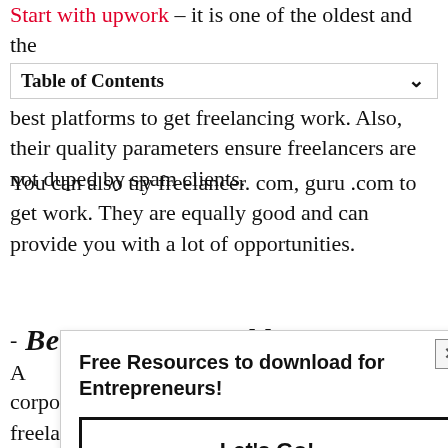Start with upwork – it is one of the oldest and the best platforms to get freelancing work. Also, their quality parameters ensure freelancers are not duped by spam clients.
Table of Contents
You can also try freelancer. com, guru .com to get work. They are equally good and can provide you with a lot of opportunities.
Become Presentable
[Figure (other): Popup overlay with heading 'Free Resources to download for Entrepreneurs!' and a 'Let's Go!' button, with an X close button in the top right corner.]
corporate. What is the point of being a freelancer if